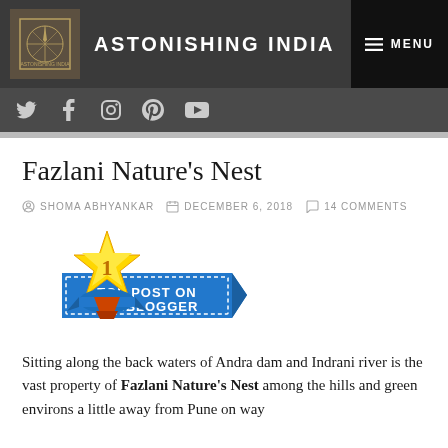ASTONISHING INDIA
[Figure (screenshot): Website navigation header with logo, site title 'ASTONISHING INDIA', and MENU button]
Fazlani Nature's Nest
SHOMA ABHYANKAR   DECEMBER 6, 2018   14 COMMENTS
[Figure (illustration): Top Post on Indiblogger badge — a golden star #1 award ribbon on a blue banner]
Sitting along the back waters of Andra dam and Indrani river is the vast property of Fazlani Nature's Nest among the hills and green environs a little away from Pune on way